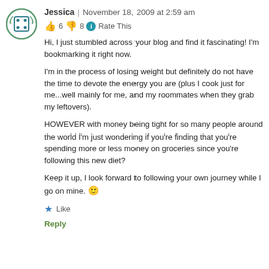[Figure (illustration): Avatar icon: circular dice/game board icon with teal border and white background, showing a dice face with dots]
Jessica | November 18, 2009 at 2:59 am
👍 6 👎 8 ℹ Rate This
Hi, I just stumbled across your blog and find it fascinating! I'm bookmarking it right now.

I'm in the process of losing weight but definitely do not have the time to devote the energy you are (plus I cook just for me...well mainly for me, and my roommates when they grab my leftovers).

HOWEVER with money being tight for so many people around the world I'm just wondering if you're finding that you're spending more or less money on groceries since you're following this new diet?

Keep it up, I look forward to following your own journey while I go on mine. 🙂
★ Like
Reply